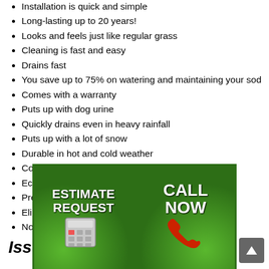Installation is quick and simple
Long-lasting up to 20 years!
Looks and feels just like regular grass
Cleaning is fast and easy
Drains fast
You save up to 75% on watering and maintaining your sod
Comes with a warranty
Puts up with dog urine
Quickly drains even in heavy rainfall
Puts up with a lot of snow
Durable in hot and cold weather
Color doesn’t fade
Eco-friendly
Prevents garden pests
Eliminates... (partially obscured)
No... (partially obscured) ...ke
Issu...
[Figure (infographic): Two green grass-textured buttons: left says ESTIMATE REQUEST with calculator icon, right says CALL NOW with red phone handset icon]